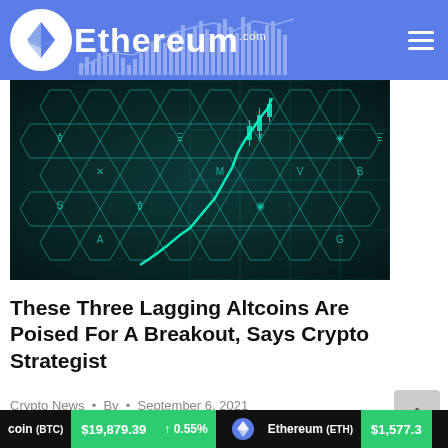Ethereum.com
[Figure (photo): Dark teal hexagonal crypto token grid background with glowing candlestick chart line trending upward]
These Three Lagging Altcoins Are Poised For A Breakout, Says Crypto Strategist
Crypto News • By • September 6, 2021
coin (BTC) $19,879.39 ↑ 0.55% Ethereum (ETH) $1,577.3